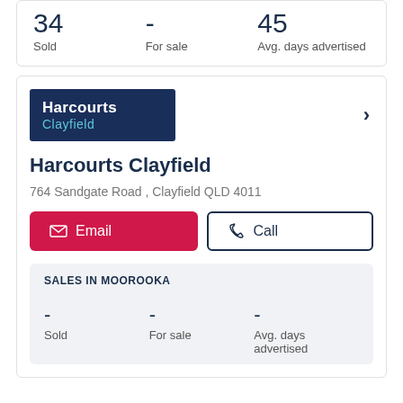34 Sold
- For sale
45 Avg. days advertised
[Figure (logo): Harcourts Clayfield real estate agency logo, dark navy background with white Harcourts text and cyan Clayfield text]
Harcourts Clayfield
764 Sandgate Road , Clayfield QLD 4011
Email
Call
SALES IN MOOROOKA
- Sold
- For sale
- Avg. days advertised